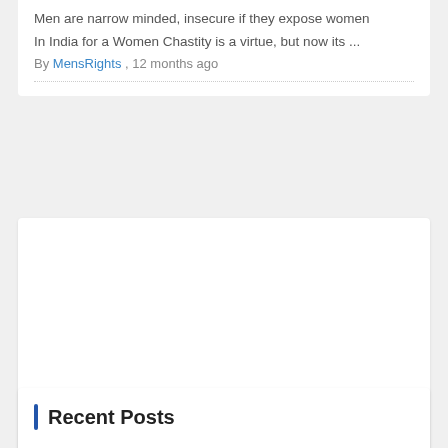Men are narrow minded, insecure if they expose women
In India for a Women Chastity is a virtue, but now its ... By MensRights , 12 months ago
[Figure (other): White advertisement card placeholder]
Recent Posts
REPORT : PETITION PRAYING FOR AMENDMENTS IN